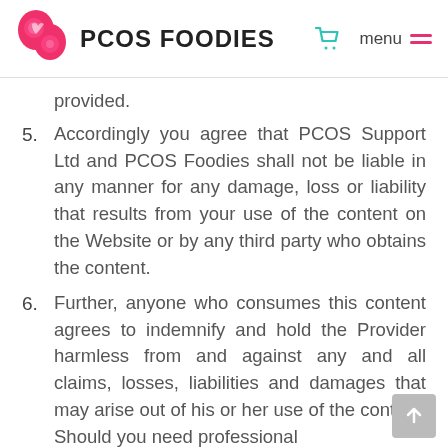PCOS FOODIES  menu
provided.
5. Accordingly you agree that PCOS Support Ltd and PCOS Foodies shall not be liable in any manner for any damage, loss or liability that results from your use of the content on the Website or by any third party who obtains the content.
6. Further, anyone who consumes this content agrees to indemnify and hold the Provider harmless from and against any and all claims, losses, liabilities and damages that may arise out of his or her use of the content. Should you need professional